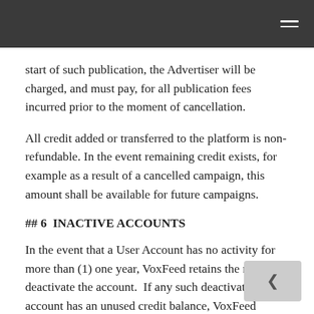start of such publication, the Advertiser will be charged, and must pay, for all publication fees incurred prior to the moment of cancellation.
All credit added or transferred to the platform is non-refundable. In the event remaining credit exists, for example as a result of a cancelled campaign, this amount shall be available for future campaigns.
## 6  INACTIVE ACCOUNTS
In the event that a User Account has no activity for more than (1) one year, VoxFeed retains the rights to deactivate the account.  If any such deactivated account has an unused credit balance, VoxFeed retains the right to retain any remaining credit.